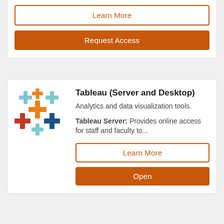[Figure (other): Learn More outline button (orange border, orange text) from upper card]
[Figure (other): Request Access solid orange button from upper card]
[Figure (logo): Tableau logo: colorful plus signs in orange, blue, red, dark blue arrangement]
Tableau (Server and Desktop)
Analytics and data visualization tools.
Tableau Server: Provides online access for staff and faculty to...
[Figure (other): Learn More outline button (orange border, orange text)]
[Figure (other): Open solid orange button]